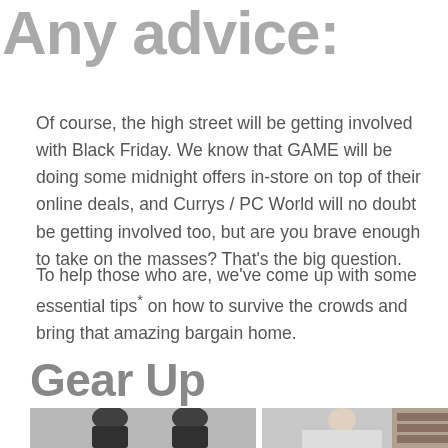Any advice:
Of course, the high street will be getting involved with Black Friday. We know that GAME will be doing some midnight offers in-store on top of their online deals, and Currys / PC World will no doubt be getting involved too, but are you brave enough to take on the masses? That's the big question.
To help those who are, we've come up with some essential tips* on how to survive the crowds and bring that amazing bargain home.
Gear Up
[Figure (photo): Two toy soldier figurines wearing military helmets against a white background]
[Figure (photo): Person holding bubble wrap in a room with bookshelves]